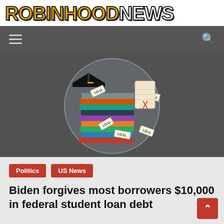ROBINHOOD NEWS
[Figure (photo): A person holding a large stack of books topped with a graduation cap and multiple I.O.U. notes/tags, set against a circular background, with a diploma visible, symbolizing student loan debt.]
Politics
US News
Biden forgives most borrowers $10,000 in federal student loan debt